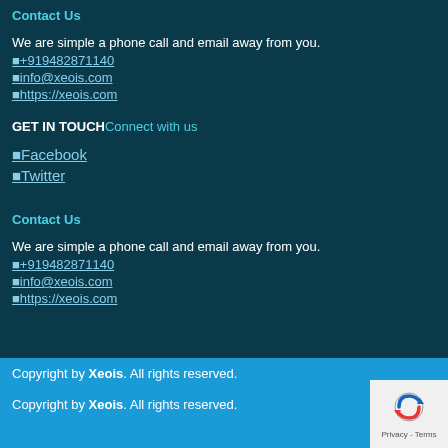Contact Us
We are simple a phone call and email away from you.
■+919482871140
■info@xeois.com
■https://xeois.com
GET IN TOUCH Connect with us
■Facebook
■Twitter
Contact Us
We are simple a phone call and email away from you.
■+919482871140
■info@xeois.com
■https://xeois.com
Copyright by Xeois. All rights reserved.
Copyright by Xeois. All rights reserved.